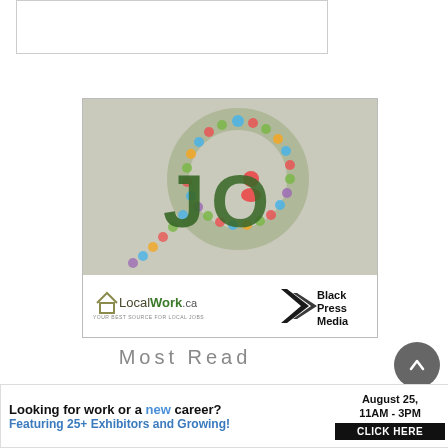[Figure (other): White rectangle with border at top of page]
[Figure (advertisement): LocalWork.ca ad with magnifying glass made of social icons, text 'JO' in dark green, LocalWork.ca logo 'YOUR BEST SOURCE FOR LOCAL JOBS', and Black Press Media logo]
Most Read
[Figure (advertisement): Banner ad: 'Looking for work or a new career? August 25, 11AM - 3PM. Featuring 25+ Exhibitors and Growing! CLICK HERE']